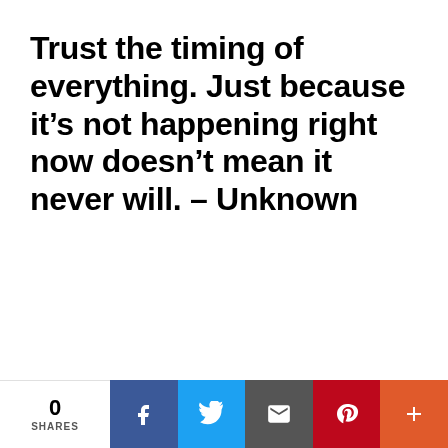Trust the timing of everything. Just because it’s not happening right now doesn’t mean it never will. – Unknown
0 SHARES | Facebook | Twitter | Email | Pinterest | +